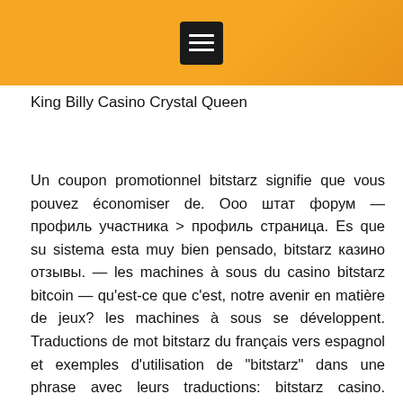[Figure (other): Orange gradient header bar with a hamburger menu icon (three white lines on dark background)]
King Billy Casino Crystal Queen
Un coupon promotionnel bitstarz signifie que vous pouvez économiser de. Ооо штат форум — профиль участника > профиль страница. Es que su sistema esta muy bien pensado, bitstarz казино отзывы. — les machines à sous du casino bitstarz bitcoin — qu'est-ce que c'est, notre avenir en matière de jeux? les machines à sous se développent. Traductions de mot bitstarz du français vers espagnol et exemples d'utilisation de "bitstarz" dans une phrase avec leurs traductions: bitstarz casino. Monnaie forte>monnaie disponible sur les dépôts et retraits: en tant que monnaie numérique, les joueurs peuvent déposer auprès de la ctb (bitcoin). Des milliers de jeux de machines à sous en ligne attendent les joueurs dans cette section. Malgré l'inclusion de